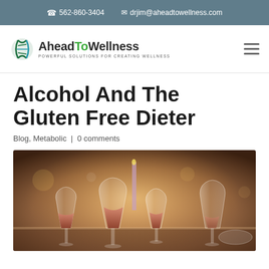562-860-3404  drjim@aheadtowellness.com
[Figure (logo): AheadToWellness logo with DNA helix icon and tagline 'POWERFUL SOLUTIONS FOR CREATING WELLNESS']
Alcohol And The Gluten Free Dieter
Blog, Metabolic | 0 comments
[Figure (photo): Photo of multiple wine glasses filled with rosé wine on a table with candles and dinnerware in the background]